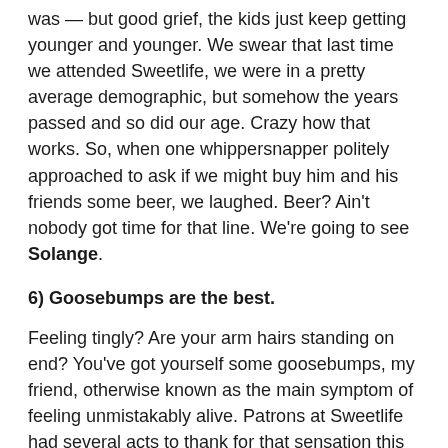was — but good grief, the kids just keep getting younger and younger. We swear that last time we attended Sweetlife, we were in a pretty average demographic, but somehow the years passed and so did our age. Crazy how that works. So, when one whippersnapper politely approached to ask if we might buy him and his friends some beer, we laughed. Beer? Ain't nobody got time for that line. We're going to see Solange.
6) Goosebumps are the best.
Feeling tingly? Are your arm hairs standing on end? You've got yourself some goosebumps, my friend, otherwise known as the main symptom of feeling unmistakably alive. Patrons at Sweetlife had several acts to thank for that sensation this weekend,